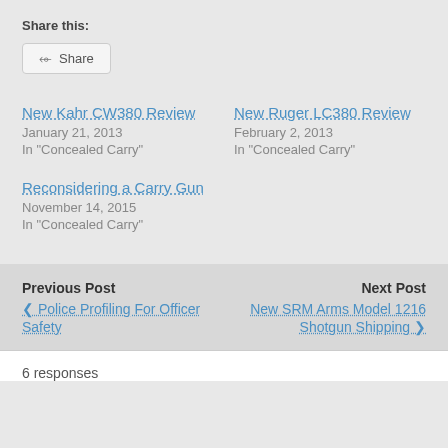Share this:
Share
New Kahr CW380 Review
January 21, 2013
In "Concealed Carry"
New Ruger LC380 Review
February 2, 2013
In "Concealed Carry"
Reconsidering a Carry Gun
November 14, 2015
In "Concealed Carry"
Previous Post
< Police Profiling For Officer Safety
Next Post
New SRM Arms Model 1216 Shotgun Shipping >
6 responses